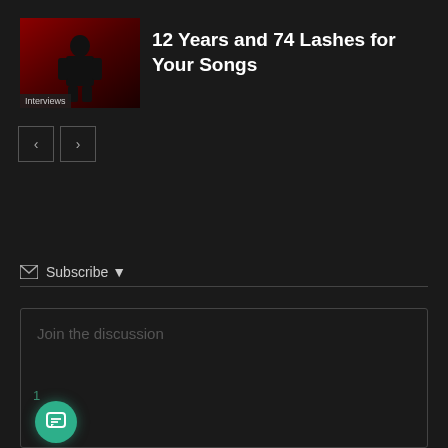[Figure (photo): Thumbnail image of a person in a dark red background with 'Interviews' label overlay]
12 Years and 74 Lashes for Your Songs
[Figure (other): Navigation buttons with left and right chevrons]
Subscribe ▾
Join the discussion
1
[Figure (other): Teal circular chat bubble icon button with notification badge]